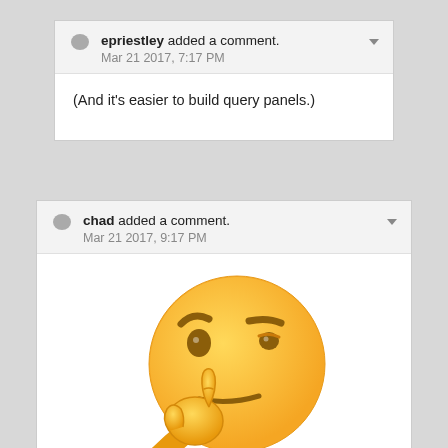epriestley added a comment. Mar 21 2017, 7:17 PM
(And it's easier to build query panels.)
chad added a comment. Mar 21 2017, 9:17 PM
[Figure (illustration): Thinking face emoji — a yellow face with a raised eyebrow, one eye slightly closed, a flat mouth, and a hand with index finger touching chin in a thinking/pondering pose.]